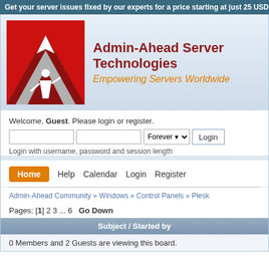Get your server issues fixed by our experts for a price starting at just 25 USD
[Figure (logo): Admin-Ahead Server Technologies logo with red mountain and gray arrow design]
Admin-Ahead Server Technologies
Empowering Servers Worldwide
Welcome, Guest. Please login or register.
Login with username, password and session length
Home
Help
Calendar
Login
Register
Admin-Ahead Community » Windows » Control Panels » Plesk
Pages: [1] 2 3 ... 6   Go Down
| Subject / Started by |
| --- |
| 0 Members and 2 Guests are viewing this board. |